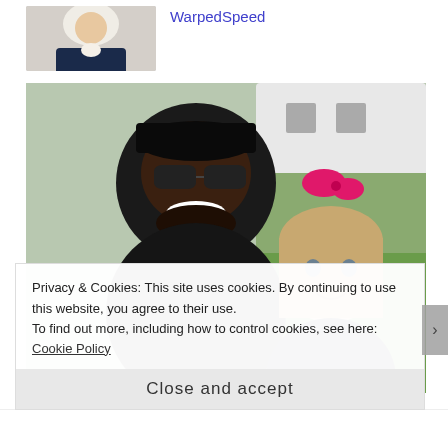WarpedSpeed
[Figure (photo): Small avatar photo of a person dressed in colonial-era costume with white wig and white collar, wearing a dark jacket]
[Figure (photo): A smiling man wearing a black cap and sunglasses posing with a young girl who has a pink bow in her hair. The background shows a vehicle and grass.]
Privacy & Cookies: This site uses cookies. By continuing to use this website, you agree to their use.
To find out more, including how to control cookies, see here: Cookie Policy
Close and accept